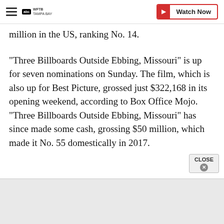WFTV TAMPA BAY — Watch Now
million in the US, ranking No. 14.
"Three Billboards Outside Ebbing, Missouri" is up for seven nominations on Sunday. The film, which is also up for Best Picture, grossed just $322,168 in its opening weekend, according to Box Office Mojo. "Three Billboards Outside Ebbing, Missouri" has since made some cash, grossing $50 million, which made it No. 55 domestically in 2017.